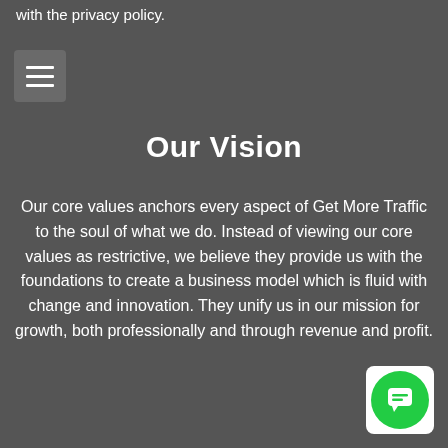with the privacy policy.
[Figure (other): Hamburger menu icon button (three horizontal lines) on a grey rounded rectangle background]
Our Vision
Our core values anchors every aspect of Get More Traffic to the soul of what we do. Instead of viewing our core values as restrictive, we believe they provide us with the foundations to create a business model which is fluid with change and innovation. They unify us in our mission for growth, both professionally and through revenue and profit.
[Figure (other): Green circular chat widget icon in bottom right corner]